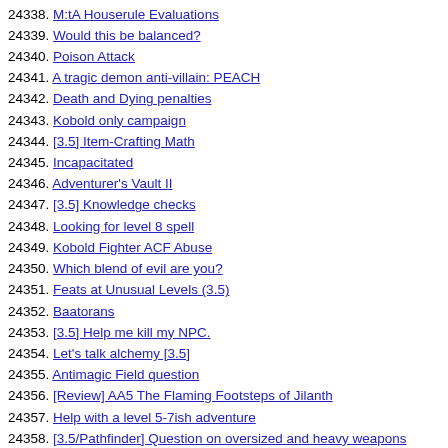24338. M:tA Houserule Evaluations
24339. Would this be balanced?
24340. Poison Attack
24341. A tragic demon anti-villain: PEACH
24342. Death and Dying penalties
24343. Kobold only campaign
24344. [3.5] Item-Crafting Math
24345. Incapacitated
24346. Adventurer's Vault II
24347. [3.5] Knowledge checks
24348. Looking for level 8 spell
24349. Kobold Fighter ACF Abuse
24350. Which blend of evil are you?
24351. Feats at Unusual Levels (3.5)
24352. Baatorans
24353. [3.5] Help me kill my NPC.
24354. Let's talk alchemy [3.5]
24355. Antimagic Field question
24356. [Review] AA5 The Flaming Footsteps of Jilanth
24357. Help with a level 5-7ish adventure
24358. [3.5/Pathfinder] Question on oversized and heavy weapons
24359. [3.5] Nature vs. Nurture: Another Alignment Thread
24360. NPC Class + Bard?
24361. [3.5] Digital Character Sheet
24362. Sword n Board VS two-handers
24363. Blind swordsman? 3.5
24364. What is the effective level of this gestalt party?
24365. Going on an archeological dig
24366. In need of some advise...